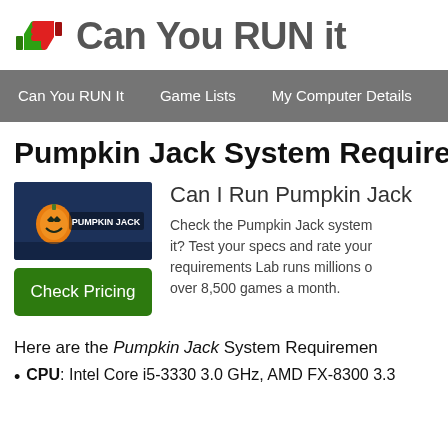Can You RUN it
Can You RUN It   Game Lists   My Computer Details
Pumpkin Jack System Requirements
[Figure (screenshot): Pumpkin Jack game logo/cover image showing a pumpkin character]
Check Pricing
Can I Run Pumpkin Jack
Check the Pumpkin Jack system requirements. Can I run it? Test your specs and rate your computer. System requirements Lab runs millions of PC requirements tests on over 8,500 games a month.
Here are the Pumpkin Jack System Requirements
CPU: Intel Core i5-3330 3.0 GHz, AMD FX-8300 3.3